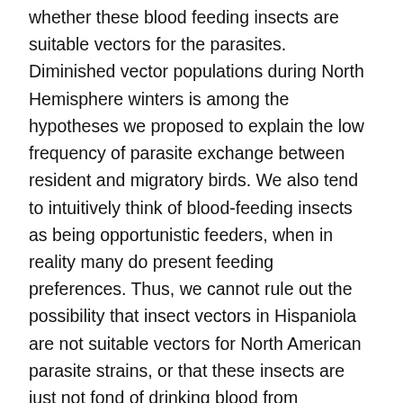whether these blood feeding insects are suitable vectors for the parasites. Diminished vector populations during North Hemisphere winters is among the hypotheses we proposed to explain the low frequency of parasite exchange between resident and migratory birds. We also tend to intuitively think of blood-feeding insects as being opportunistic feeders, when in reality many do present feeding preferences. Thus, we cannot rule out the possibility that insect vectors in Hispaniola are not suitable vectors for North American parasite strains, or that these insects are just not fond of drinking blood from migratory birds.
If you study any organism on Earth, what would it be and why? I would love to study bird species that seem refractory to commonly occurring parasites. For example, malaria parasites have been found infecting